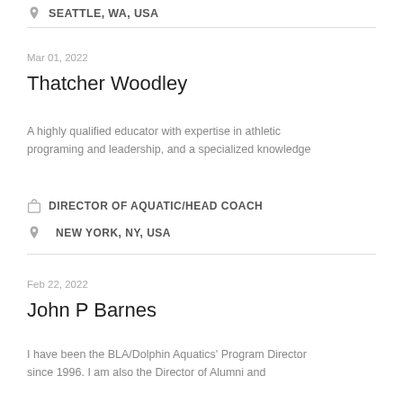SEATTLE, WA, USA
Mar 01, 2022
Thatcher Woodley
A highly qualified educator with expertise in athletic programing and leadership, and a specialized knowledge
DIRECTOR OF AQUATIC/HEAD COACH
NEW YORK, NY, USA
Feb 22, 2022
John P Barnes
I have been the BLA/Dolphin Aquatics' Program Director since 1996. I am also the Director of Alumni and